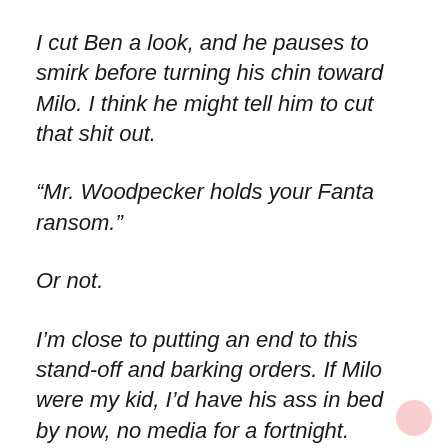I cut Ben a look, and he pauses to smirk before turning his chin toward Milo. I think he might tell him to cut that shit out.
“Mr. Woodpecker holds your Fanta ransom.”
Or not.
I’m close to putting an end to this stand-off and barking orders. If Milo were my kid, I’d have his ass in bed by now, no media for a fortnight.
Not my kid. Not my kid.
Ben reads my face and his expression shutters